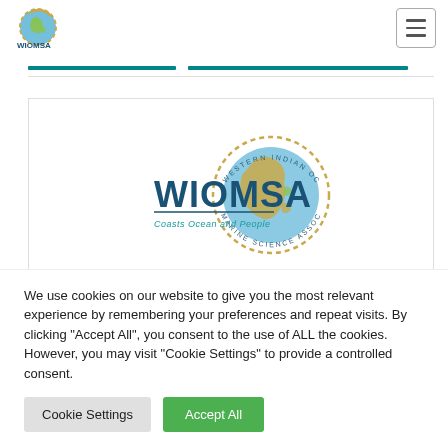[Figure (logo): WIOMSA small logo with globe icon in top navigation bar]
[Figure (logo): WIOMSA large logo — Western Indian Ocean Marine Science Association — with globe and map graphic, text 'Coasts Ocean and People']
We use cookies on our website to give you the most relevant experience by remembering your preferences and repeat visits. By clicking "Accept All", you consent to the use of ALL the cookies. However, you may visit "Cookie Settings" to provide a controlled consent.
Cookie Settings
Accept All